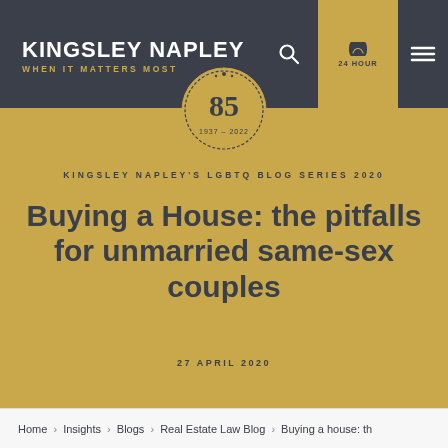KINGSLEY NAPLEY — WHEN IT MATTERS MOST
[Figure (logo): Kingsley Napley 85th anniversary badge, 1937–2022, circular gold design]
KINGSLEY NAPLEY'S LGBTQ BLOG SERIES 2020
Buying a House: the pitfalls for unmarried same-sex couples
27 APRIL 2020
Home › Insights › Blogs › Real Estate Law Blog › Buying a house: th